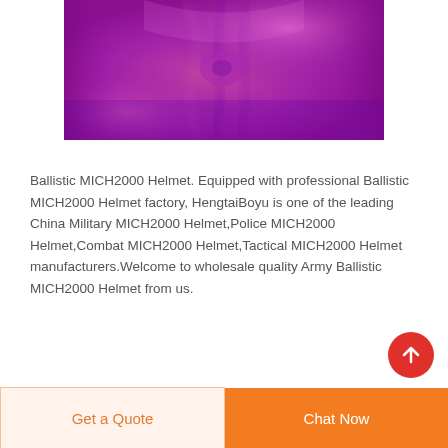[Figure (photo): Close-up photo of magenta/purple fabric with draped folds showing texture and sheen]
Ballistic MICH2000 Helmet. Equipped with professional Ballistic MICH2000 Helmet factory, HengtaiBoyu is one of the leading China Military MICH2000 Helmet,Police MICH2000 Helmet,Combat MICH2000 Helmet,Tactical MICH2000 Helmet manufacturers.Welcome to wholesale quality Army Ballistic MICH2000 Helmet from us.
Get a Quote
Chat Now